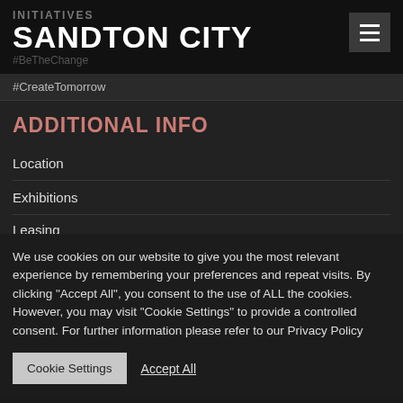INITIATIVES
SANDTON CITY
#BeTheChange
#CreateTomorrow
ADDITIONAL INFO
Location
Exhibitions
Leasing
We use cookies on our website to give you the most relevant experience by remembering your preferences and repeat visits. By clicking "Accept All", you consent to the use of ALL the cookies. However, you may visit "Cookie Settings" to provide a controlled consent. For further information please refer to our Privacy Policy
Cookie Settings | Accept All